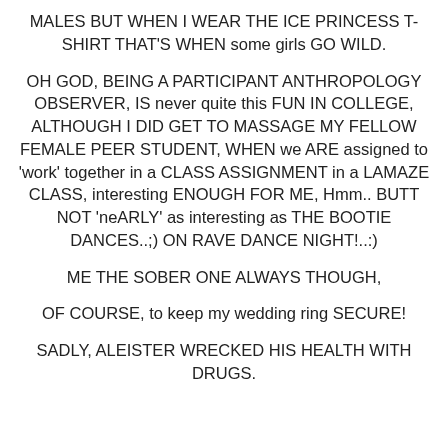MALES BUT WHEN I WEAR THE ICE PRINCESS T-SHIRT THAT'S WHEN some girls GO WILD.
OH GOD, BEING A PARTICIPANT ANTHROPOLOGY OBSERVER, IS never quite this FUN IN COLLEGE, ALTHOUGH I DID GET TO MASSAGE MY FELLOW FEMALE PEER STUDENT, WHEN we ARE assigned to 'work' together in a CLASS ASSIGNMENT in a LAMAZE CLASS, interesting ENOUGH FOR ME, Hmm.. BUTT NOT 'neARLY' as interesting as THE BOOTIE DANCES..;) ON RAVE DANCE NIGHT!..:)
ME THE SOBER ONE ALWAYS THOUGH,
OF COURSE, to keep my wedding ring SECURE!
SADLY, ALEISTER WRECKED HIS HEALTH WITH DRUGS.